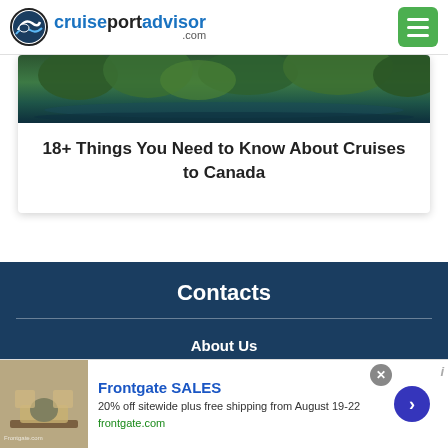cruiseportadvisor.com
[Figure (photo): Aerial/landscape photo of trees and water, likely a Canadian coastline or port scene]
18+ Things You Need to Know About Cruises to Canada
Contacts
About Us
Contact Us
Advertise
[Figure (photo): Advertisement banner for Frontgate SALES showing outdoor furniture with a fire pit]
Frontgate SALES
20% off sitewide plus free shipping from August 19-22
frontgate.com